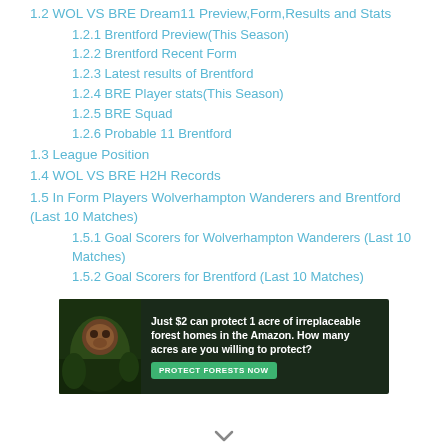1.2 WOL VS BRE Dream11 Preview,Form,Results and Stats
1.2.1 Brentford Preview(This Season)
1.2.2 Brentford Recent Form
1.2.3 Latest results of Brentford
1.2.4 BRE Player stats(This Season)
1.2.5 BRE Squad
1.2.6 Probable 11 Brentford
1.3 League Position
1.4 WOL VS BRE H2H Records
1.5 In Form Players Wolverhampton Wanderers and Brentford (Last 10 Matches)
1.5.1 Goal Scorers for Wolverhampton Wanderers (Last 10 Matches)
1.5.2 Goal Scorers for Brentford (Last 10 Matches)
[Figure (photo): Advertisement banner: forest/Amazon conservation ad. Text: 'Just $2 can protect 1 acre of irreplaceable forest homes in the Amazon. How many acres are you willing to protect?' with a green 'PROTECT FORESTS NOW' button. Photo of orangutan in forest on left.]